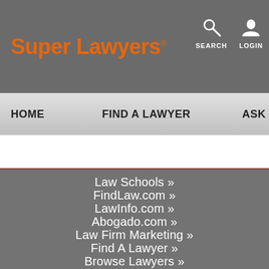Super Lawyers
SEARCH  LOGIN
HOME   FIND A LAWYER   ASK SUPER L…
Law Schools »
FindLaw.com »
LawInfo.com »
Abogado.com »
Law Firm Marketing »
Find A Lawyer »
Browse Lawyers »